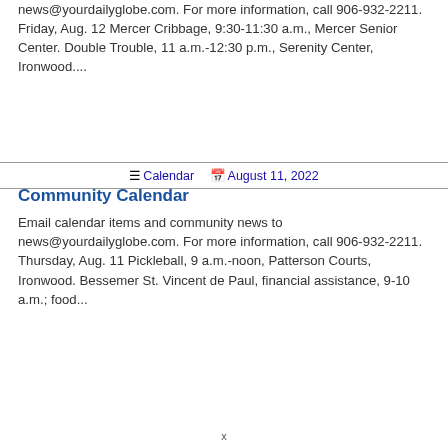news@yourdailyglobe.com. For more information, call 906-932-2211. Friday, Aug. 12 Mercer Cribbage, 9:30-11:30 a.m., Mercer Senior Center. Double Trouble, 11 a.m.-12:30 p.m., Serenity Center, Ironwood....
Calendar  August 11, 2022
Community Calendar
Email calendar items and community news to news@yourdailyglobe.com. For more information, call 906-932-2211. Thursday, Aug. 11 Pickleball, 9 a.m.-noon, Patterson Courts, Ironwood. Bessemer St. Vincent de Paul, financial assistance, 9-10 a.m.; food...
x